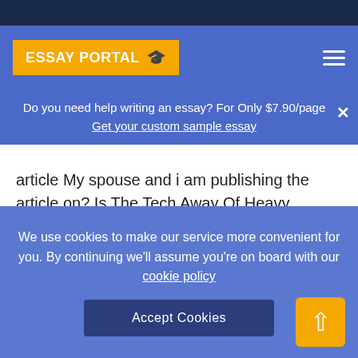[Figure (screenshot): Essay Portal website header with yellow logo box and hamburger menu on blue navigation bar]
Do you need help writing an essay? For Only $7.90/page Get your custom sample essay
article My spouse and i am publishing the article on? Is The Tech Away Of Heavy steam?, it can be found on pages 31 32 in the March 15, 1999 concern of Business Week. The content was about the way the demand and profits intended for the computer [...]
We use cookies to make our service more convenient for you. By continuing we'll assume you're on board with our cookie policy
Accept Cookies